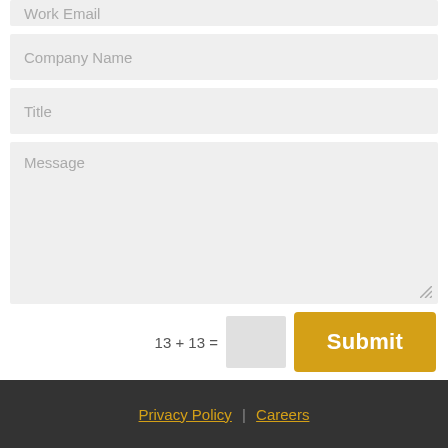Work Email
Company Name
Title
Message
13 + 13 =
Submit
Privacy Policy | Careers